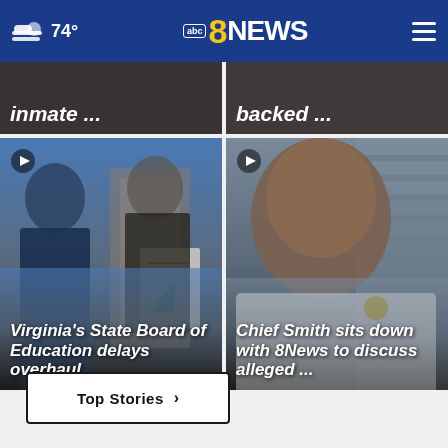74° abc8NEWS
[Figure (screenshot): Partially visible news card showing text 'inmate ...' on dark background]
[Figure (screenshot): Partially visible news card showing text 'backed ...' on dark background]
[Figure (photo): Video thumbnail of two people in a meeting room with play button icon and caption: Virginia's State Board of Education delays overhaul ...]
[Figure (photo): Video thumbnail of a man in uniform looking at camera with play button icon and caption: Chief Smith sits down with 8News to discuss alleged ...]
Top Stories ›